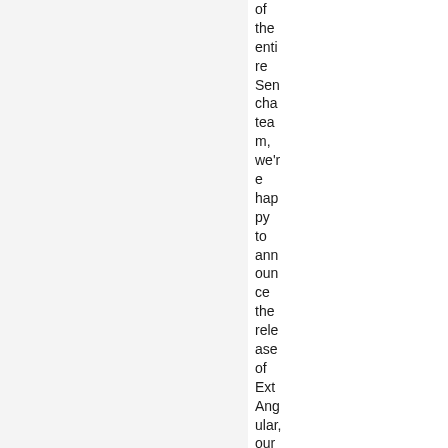of the entire Sencha team, we're happy to announce the release of ExtAngular, our newest product. Ext